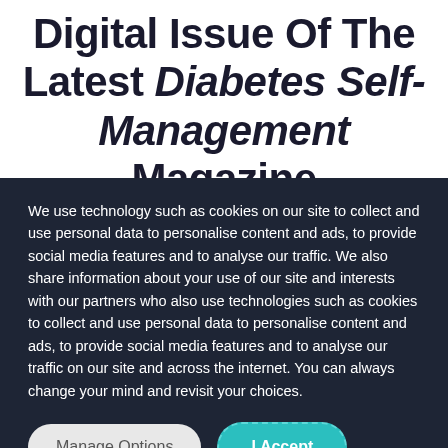Digital Issue Of The Latest Diabetes Self-Management Magazine
We use technology such as cookies on our site to collect and use personal data to personalise content and ads, to provide social media features and to analyse our traffic. We also share information about your use of our site and interests with our partners who also use technologies such as cookies to collect and use personal data to personalise content and ads, to provide social media features and to analyse our traffic on our site and across the internet. You can always change your mind and revisit your choices.